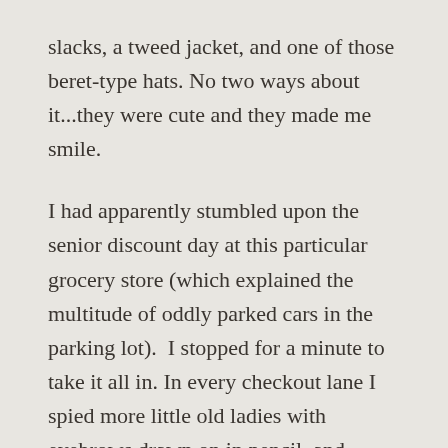slacks, a tweed jacket, and one of those beret-type hats. No two ways about it...they were cute and they made me smile.

I had apparently stumbled upon the senior discount day at this particular grocery store (which explained the multitude of oddly parked cars in the parking lot).  I stopped for a minute to take it all in. In every checkout lane I spied more little old ladies with eyebrows drawn on in pencil, and silver- haired (and barely-haired) men clad in sport coats of an era